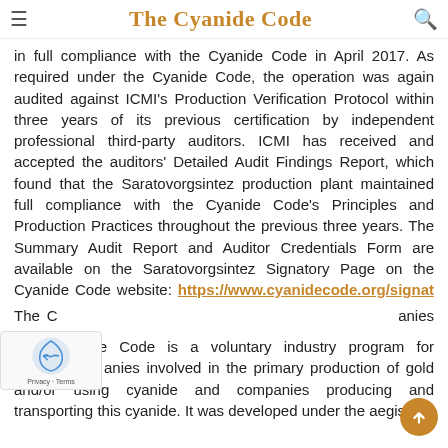The Cyanide Code
in full compliance with the Cyanide Code in April 2017. As required under the Cyanide Code, the operation was again audited against ICMI's Production Verification Protocol within three years of its previous certification by independent professional third-party auditors. ICMI has received and accepted the auditors' Detailed Audit Findings Report, which found that the Saratovorgsintez production plant maintained full compliance with the Cyanide Code's Principles and Production Practices throughout the previous three years. The Summary Audit Report and Auditor Credentials Form are available on the Saratovorgsintez Signatory Page on the Cyanide Code website: https://www.cyanidecode.org/signatory-company-categories/saratovorgsintez-llc-russia. The operation must be re-audited every three years to evaluate continuing compliance with the Cyanide Code.
The Cyanide Code is a voluntary industry program for companies involved in the primary production of gold and/or using cyanide and companies producing and transporting this cyanide. It was developed under the aegis